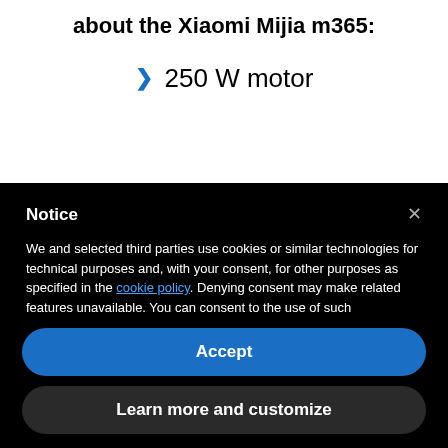about the Xiaomi Mijia m365:
250 W motor
Notice
We and selected third parties use cookies or similar technologies for technical purposes and, with your consent, for other purposes as specified in the cookie policy. Denying consent may make related features unavailable. You can consent to the use of such technologies by using the "Accept" button, by closing this notice, by interacting with any link or button outside of this notice or by continuing to browse otherwise.
Accept
Learn more and customize